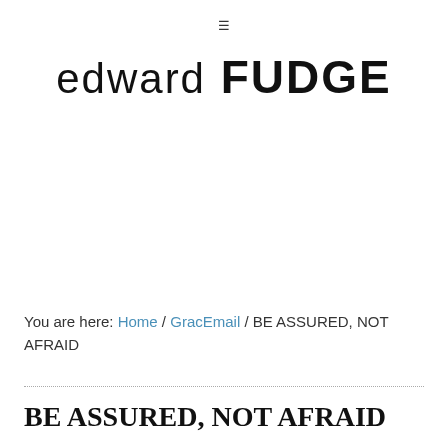☰
edward FUDGE
You are here: Home / GracEmail / BE ASSURED, NOT AFRAID
BE ASSURED, NOT AFRAID